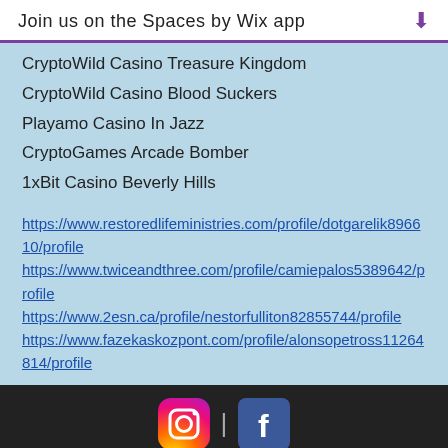Join us on the Spaces by Wix app ⬇
CryptoWild Casino Treasure Kingdom
CryptoWild Casino Blood Suckers
Playamo Casino In Jazz
CryptoGames Arcade Bomber
1xBit Casino Beverly Hills
https://www.restoredlifeministries.com/profile/dotgarelik896610/profile
https://www.twiceandthree.com/profile/camiepalos5389642/profile
https://www.2esn.ca/profile/nestorfulliton82855744/profile
https://www.fazekaskozpont.com/profile/alonsopetross11264814/profile
[Figure (logo): Instagram and Facebook social media icons with a divider between them]
Mon - Fri: 7am - 8pm, Sat - 8am - 8pm
© 2015 by  Taylor Made Bouquets